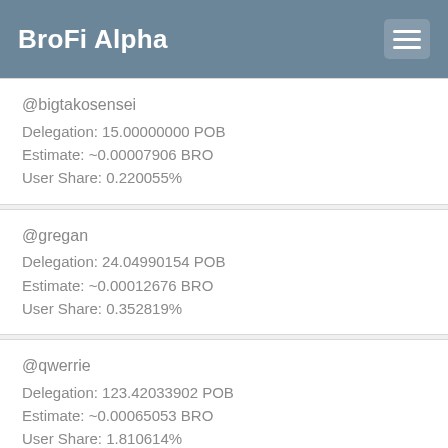BroFi Alpha
@bigtakosensei
Delegation: 15.00000000 POB
Estimate: ~0.00007906 BRO
User Share: 0.220055%
@gregan
Delegation: 24.04990154 POB
Estimate: ~0.00012676 BRO
User Share: 0.352819%
@qwerrie
Delegation: 123.42033902 POB
Estimate: ~0.00065053 BRO
User Share: 1.810614%
@edgerik